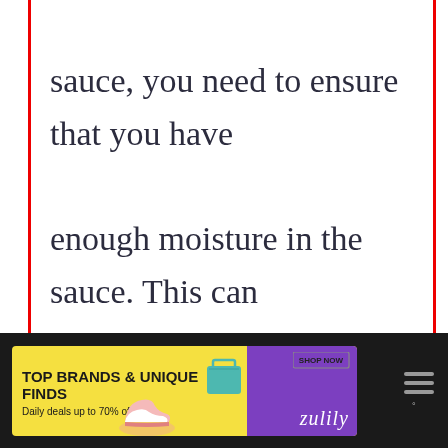sauce, you need to ensure that you have enough moisture in the sauce. This can be achieved by adding extra ingredients such as cream, butter, milk, or chee…
[Figure (screenshot): UI overlay with heart (favorite) button in blue circle and share button in white circle with shadow]
[Figure (screenshot): What's Next widget showing thumbnail of pasta dish with text 'WHAT'S NEXT → How to Cook Dried Pasta...']
[Figure (screenshot): Advertisement banner at bottom: 'TOP BRANDS & UNIQUE FINDS - Daily deals up to 70% off' - zulily ad with yellow background and purple accent]